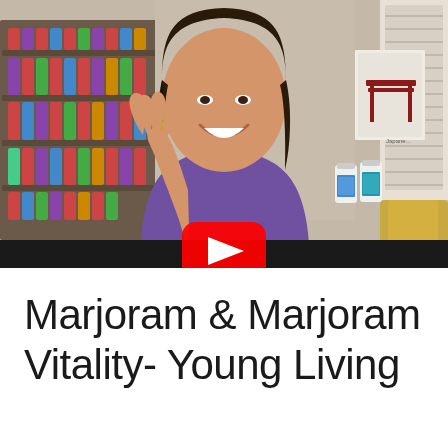[Figure (screenshot): YouTube video thumbnail showing a smiling woman with dark hair wearing a purple top, holding up two small essential oil bottles (white and teal labeled). Behind her is a wall-mounted shelf with many small bottles, and a framed Japanese torii gate picture on the right. A YouTube play button (red rounded rectangle with white triangle) is overlaid in the center. The bottom of the thumbnail has a black bar.]
Marjoram & Marjoram Vitality- Young Living